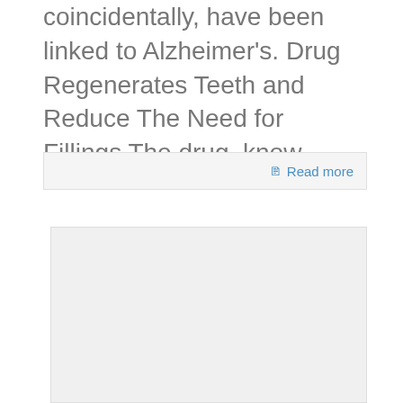coincidentally, have been linked to Alzheimer's. Drug Regenerates Teeth and Reduce The Need for Fillings The drug, know...
[Figure (screenshot): A read more button/bar UI element with a document icon and 'Read more' text in blue]
[Figure (other): A light gray rectangular placeholder box, likely an advertisement or image placeholder]